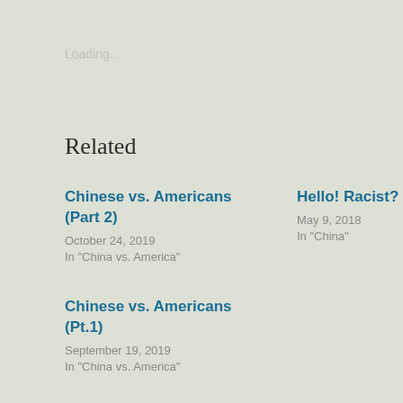Loading...
Related
Chinese vs. Americans (Part 2)
October 24, 2019
In "China vs. America"
Hello! Racist?
May 9, 2018
In "China"
Chinese vs. Americans (Pt.1)
September 19, 2019
In "China vs. America"